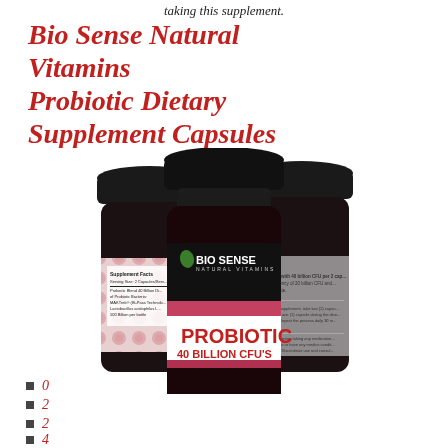taking this supplement.
Bio Sense Natural Vitamins Probiotic Dietary Supplement Capsules
[Figure (photo): Three dark glass bottles of Bio Sense Natural Vitamins Probiotic 40 Billion CFU's dietary supplement capsules, shown from front and sides with label visible.]
0
2
2
4